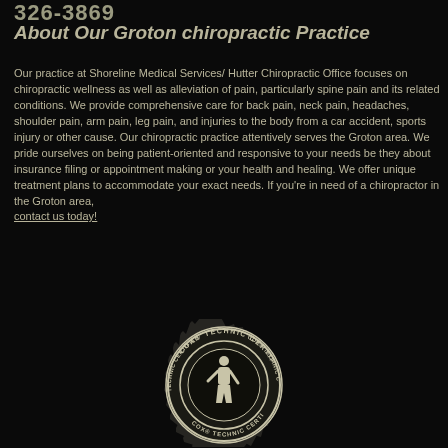326-3869
About Our Groton chiropractic Practice
Our practice at Shoreline Medical Services/ Hutter Chiropractic Office focuses on chiropractic wellness as well as alleviation of pain, particularly spine pain and its related conditions. We provide comprehensive care for back pain, neck pain, headaches, shoulder pain, arm pain, leg pain, and injuries to the body from a car accident, sports injury or other cause. Our chiropractic practice attentively serves the Groton area. We pride ourselves on being patient-oriented and responsive to your needs be they about insurance filing or appointment making or your health and healing. We offer unique treatment plans to accommodate your exact needs. If you're in need of a chiropractor in the Groton area, contact us today!
[Figure (logo): Cox Technic Certified seal/badge — circular emblem with spiky border, text reading COX TECHNIC CERTIFIED around the ring, and a human spine/figure illustration in the center]